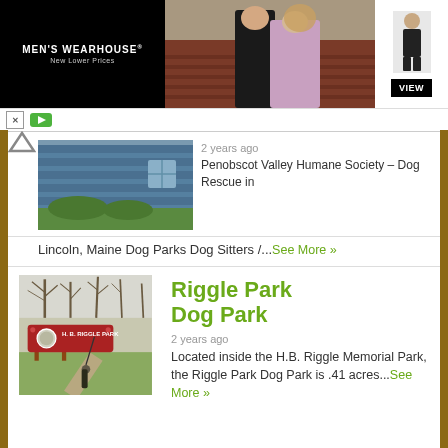[Figure (photo): Men's Wearhouse advertisement banner with couple in formal wear and man in suit on right with VIEW button]
[Figure (photo): Photo of a blue building with vegetation in front]
2 years ago
Penobscot Valley Humane Society – Dog Rescue in
Lincoln, Maine Dog Parks Dog Sitters /...See More »
[Figure (photo): Photo of H.B. Riggle Park sign with bare trees in background]
Riggle Park Dog Park
2 years ago
Located inside the H.B. Riggle Memorial Park, the Riggle Park Dog Park is .41 acres...See More »